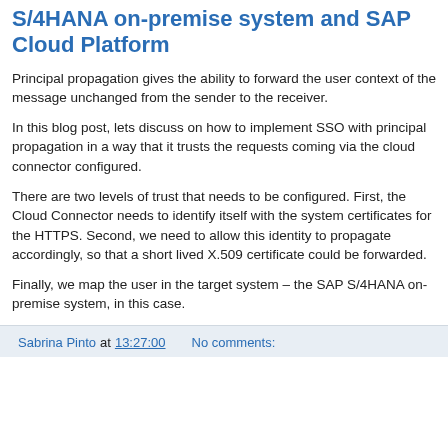S/4HANA on-premise system and SAP Cloud Platform
Principal propagation gives the ability to forward the user context of the message unchanged from the sender to the receiver.
In this blog post, lets discuss on how to implement SSO with principal propagation in a way that it trusts the requests coming via the cloud connector configured.
There are two levels of trust that needs to be configured. First, the Cloud Connector needs to identify itself with the system certificates for the HTTPS. Second, we need to allow this identity to propagate accordingly, so that a short lived X.509 certificate could be forwarded.
Finally, we map the user in the target system – the SAP S/4HANA on-premise system, in this case.
Sabrina Pinto at 13:27:00   No comments: